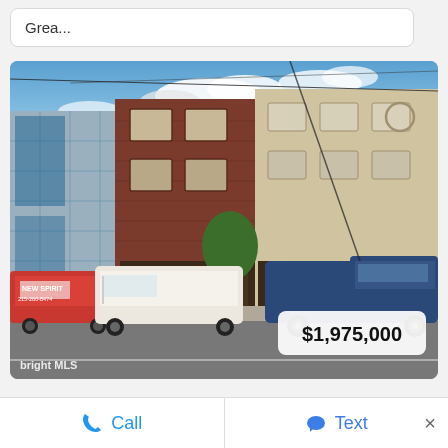Grea...
[Figure (photo): Street-level photo of mixed-use commercial/residential brick and stucco urban buildings with vehicles parked in front, price overlay showing $1,975,000, bright MLS watermark in lower left]
$1,975,000
Call   Text   ×